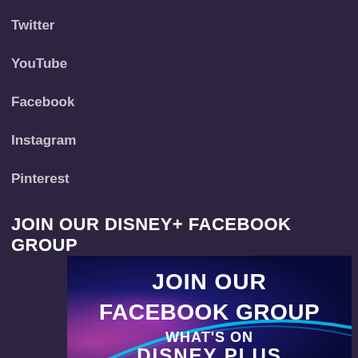Twitter
YouTube
Facebook
Instagram
Pinterest
JOIN OUR DISNEY+ FACEBOOK GROUP
[Figure (illustration): Promotional banner image with dark space-themed background showing text 'JOIN OUR FACEBOOK GROUP' and 'WHAT'S ON DISNEY PLUS' with a blue arc/swoosh graphic element]